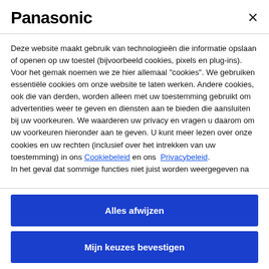Panasonic
Deze website maakt gebruik van technologieën die informatie opslaan of openen op uw toestel (bijvoorbeeld cookies, pixels en plug-ins). Voor het gemak noemen we ze hier allemaal "cookies". We gebruiken essentiële cookies om onze website te laten werken. Andere cookies, ook die van derden, worden alleen met uw toestemming gebruikt om advertenties weer te geven en diensten aan te bieden die aansluiten bij uw voorkeuren. We waarderen uw privacy en vragen u daarom om uw voorkeuren hieronder aan te geven. U kunt meer lezen over onze cookies en uw rechten (inclusief over het intrekken van uw toestemming) in ons Cookiebeleid en ons Privacybeleid. In het geval dat sommige functies niet juist worden weergegeven na
Alles afwijzen
Mijn keuzes bevestigen